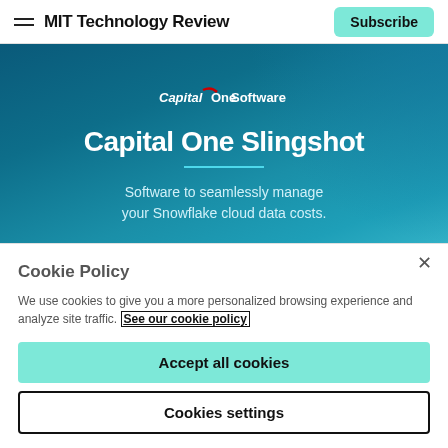MIT Technology Review | Subscribe
[Figure (illustration): Capital One Software advertisement banner with dark teal/blue gradient background. Shows Capital One Software logo at top, large white text reading 'Capital One Slingshot', a light blue underline, and subtitle text 'Software to seamlessly manage your Snowflake cloud data costs.']
Cookie Policy
We use cookies to give you a more personalized browsing experience and analyze site traffic. See our cookie policy
Accept all cookies
Cookies settings